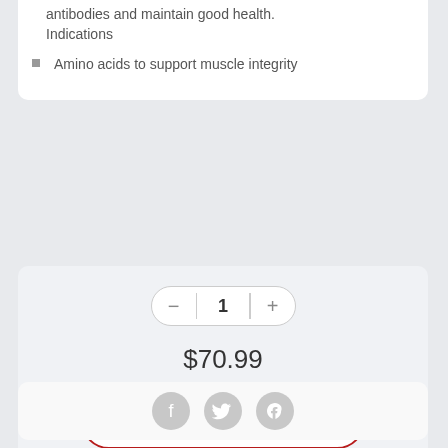antibodies and maintain good health.
Indications
Amino acids to support muscle integrity
1
$70.99
Ajouter au panier